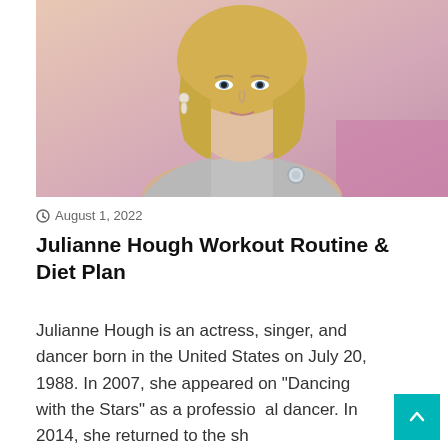[Figure (photo): Portrait photo of Julianne Hough, a blonde woman wearing a silver outfit with a brooch, against a light pink/peach background]
August 1, 2022
Julianne Hough Workout Routine & Diet Plan
Julianne Hough is an actress, singer, and dancer born in the United States on July 20, 1988. In 2007, she appeared on "Dancing with the Stars" as a professional dancer. In 2014, she returned to the sh